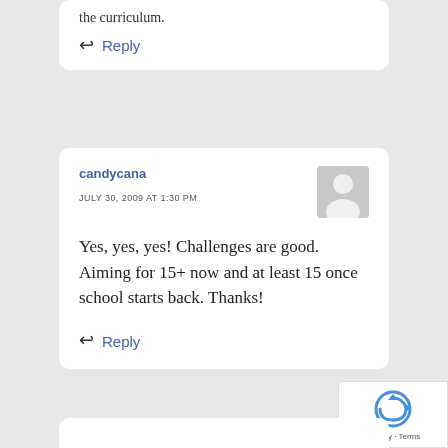the curriculum.
Reply
candycana
JULY 30, 2009 AT 1:30 PM
Yes, yes, yes! Challenges are good. Aiming for 15+ now and at least 15 once school starts back. Thanks!
Reply